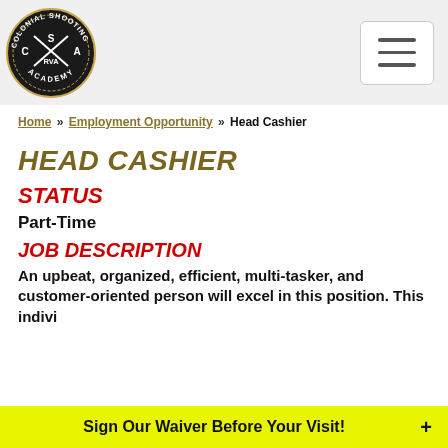Colonial Shooting Academy RVA — logo and navigation menu
Home » Employment Opportunity » Head Cashier
HEAD CASHIER
STATUS
Part-Time
JOB DESCRIPTION
An upbeat, organized, efficient, multi-tasker, and customer-oriented person will excel in this position. This indivi
Sign Our Waiver Before Your Visit!  +